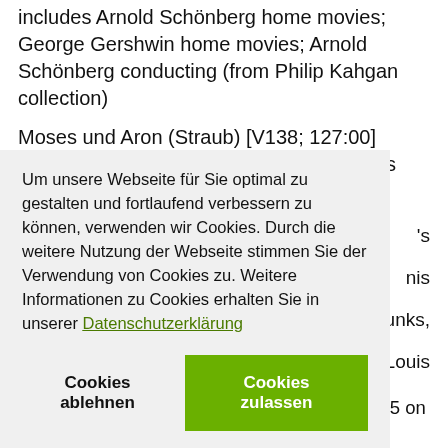includes Arnold Schönberg home movies; George Gershwin home movies; Arnold Schönberg conducting (from Philip Kahgan collection)
Moses und Aron (Straub) [V138; 127:00]
Moses und Aron by Arnold Schönberg; this film by Jean-…'s …nis …unks, Louis
Um unsere Webseite für Sie optimal zu gestalten und fortlaufend verbessern zu können, verwenden wir Cookies. Durch die weitere Nutzung der Webseite stimmen Sie der Verwendung von Cookies zu. Weitere Informationen zu Cookies erhalten Sie in unserer Datenschutzerklärung
Cookies ablehnen
Cookies zulassen
1. Interview with Emmy Wellesz, October 1985 on the